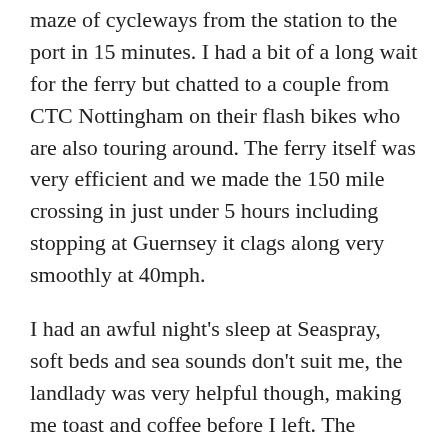maze of cycleways from the station to the port in 15 minutes. I had a bit of a long wait for the ferry but chatted to a couple from CTC Nottingham on their flash bikes who are also touring around. The ferry itself was very efficient and we made the 150 mile crossing in just under 5 hours including stopping at Guernsey it clags along very smoothly at 40mph.
I had an awful night's sleep at Seaspray, soft beds and sea sounds don't suit me, the landlady was very helpful though, making me toast and coffee before I left. The triathletes were already bombing up and down the bay.
The weather in Jersey was pretty bad, overcast and